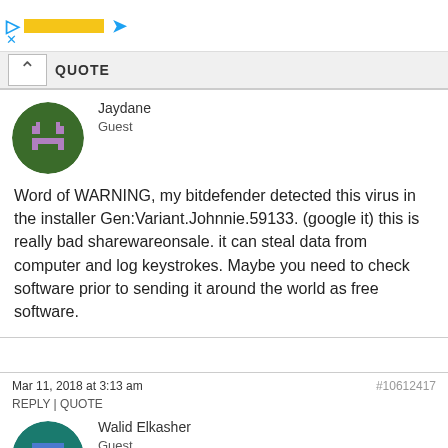[Figure (screenshot): Ad banner with yellow bar and blue arrow, with X close button]
QUOTE
Jaydane
Guest
Word of WARNING, my bitdefender detected this virus in the installer Gen:Variant.Johnnie.59133. (google it) this is really bad sharewareonsale. it can steal data from computer and log keystrokes. Maybe you need to check software prior to sending it around the world as free software.
Mar 11, 2018 at 3:13 am
REPLY | QUOTE
#10612417
Walid Elkasher
Guest
Thank you for this awesome gift